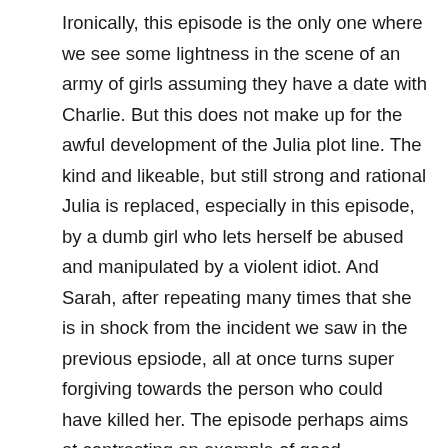Ironically, this episode is the only one where we see some lightness in the scene of an army of girls assuming they have a date with Charlie. But this does not make up for the awful development of the Julia plot line. The kind and likeable, but still strong and rational Julia is replaced, especially in this episode, by a dumb girl who lets herself be abused and manipulated by a violent idiot. And Sarah, after repeating many times that she is in shock from the incident we saw in the previous epsiode, all at once turns super forgiving towards the person who could have killed her. The episode perhaps aims at contrasting an example of good forgiveness (Sarah) vs. an example of bad forgiveness (Julia), but they are both bad, not believable